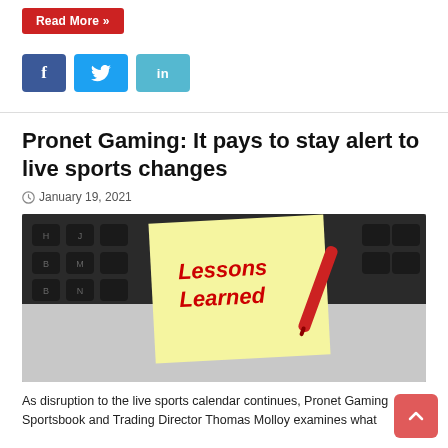Read More »
[Figure (other): Social media share buttons: Facebook (f), Twitter (bird icon), LinkedIn (in)]
Pronet Gaming: It pays to stay alert to live sports changes
January 19, 2021
[Figure (photo): A yellow sticky note on a laptop keyboard with 'Lessons Learned' written in red marker, with a red marker pen beside it.]
As disruption to the live sports calendar continues, Pronet Gaming Sportsbook and Trading Director Thomas Molloy examines what